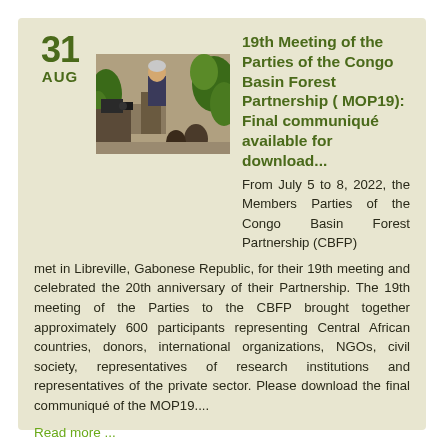19th Meeting of the Parties of the Congo Basin Forest Partnership ( MOP19): Final communiqué available for download...
[Figure (photo): Photo of a man in a suit speaking at a podium, with a camera operator filming in the foreground and green foliage decoration in the background.]
From July 5 to 8, 2022, the Members Parties of the Congo Basin Forest Partnership (CBFP) met in Libreville, Gabonese Republic, for their 19th meeting and celebrated the 20th anniversary of their Partnership. The 19th meeting of the Parties to the CBFP brought together approximately 600 participants representing Central African countries, donors, international organizations, NGOs, civil society, representatives of research institutions and representatives of the private sector. Please download the final communiqué of the MOP19....
Read more ...